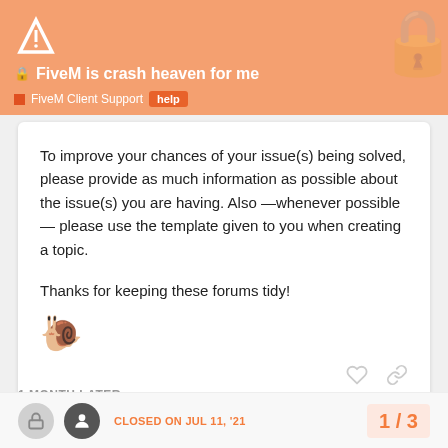FiveM is crash heaven for me — FiveM Client Support: help
To improve your chances of your issue(s) being solved, please provide as much information as possible about the issue(s) you are having. Also —whenever possible— please use the template given to you when creating a topic.

Thanks for keeping these forums tidy!
🐌
1 MONTH LATER
CLOSED ON JUL 11, '21
1 / 3